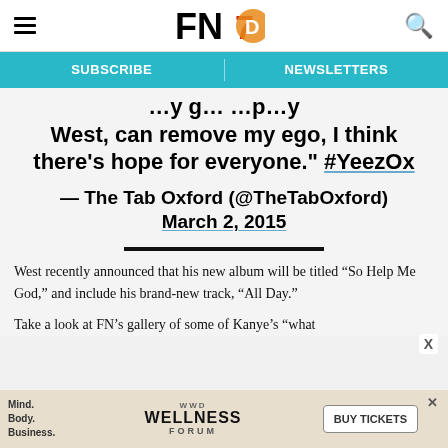FN7 [logo header with hamburger menu and search icon]
SUBSCRIBE   NEWSLETTERS
West, can remove my ego, I think there's hope for everyone." #YeezOx
— The Tab Oxford (@TheTabOxford) March 2, 2015
West recently announced that his new album will be titled “So Help Me God,” and include his brand-new track, “All Day.”
Take a look at FN’s gallery of some of Kanye’s “what
[Figure (other): Advertisement banner: Mind. Body. Business. WWD WELLNESS FORUM BUY TICKETS]